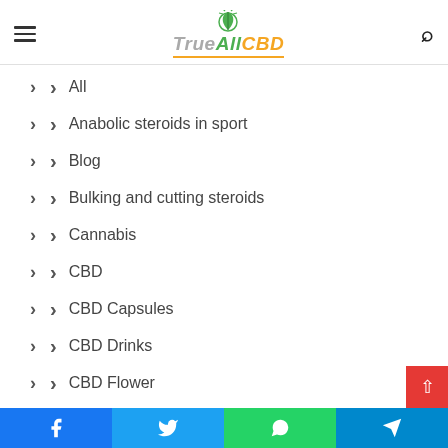[Figure (logo): TrueAllCBD logo with green cannabis leaf sunburst graphic above italic text]
All
Anabolic steroids in sport
Blog
Bulking and cutting steroids
Cannabis
CBD
CBD Capsules
CBD Drinks
CBD Flower
CBD for Pets
CBD Oil
Facebook | Twitter | WhatsApp | Telegram